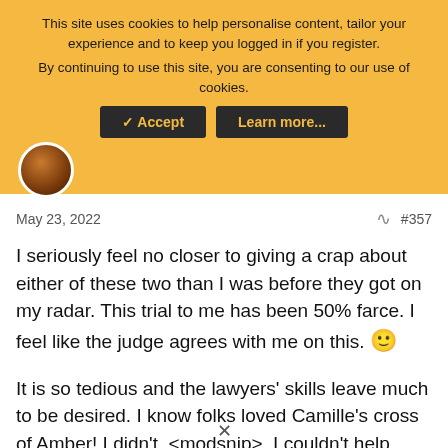This site uses cookies to help personalise content, tailor your experience and to keep you logged in if you register. By continuing to use this site, you are consenting to our use of cookies.
May 23, 2022   #357
I seriously feel no closer to giving a crap about either of these two than I was before they got on my radar. This trial to me has been 50% farce. I feel like the judge agrees with me on this. 🙂
It is so tedious and the lawyers' skills leave much to be desired. I know folks loved Camille's cross of Amber! I didn't. <modsnip>. I couldn't help compare to the many excellent crosses I've seen in criminal trials - and hers didn't come close.